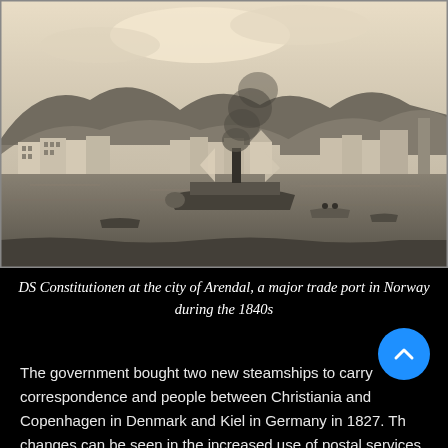[Figure (illustration): Historical sepia-toned engraving/illustration of DS Constitutionen steamship at the harbor city of Arendal, Norway. Mountains in background, buildings along waterfront, steamship with smoke stack in center of harbor, smaller boats visible on water.]
DS Constitutionen at the city of Arendal, a major trade port in Norway during the 1840s
The government bought two new steamships to carry correspondence and people between Christiania and Copenhagen in Denmark and Kiel in Germany in 1827. Th changes can be seen in the increased use of postal services with foreign countries, based on the export of trade goods of mostly timber and dried fish.